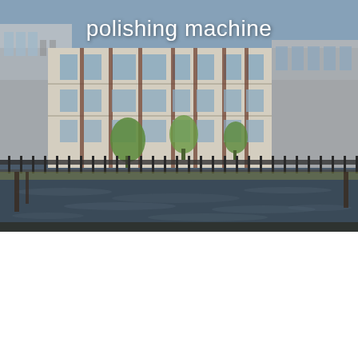[Figure (photo): Exterior view of a modern multi-story building complex reflected in a calm water body in front, with willow trees and iron fence visible. Text overlay reads 'polishing machine' in white letters at top.]
polishing machine
Review Multifunctional Abrasive Tools Grinder Mini
nbsp 0183 32 Multifunctional Abrasive Tools Grinder Mini